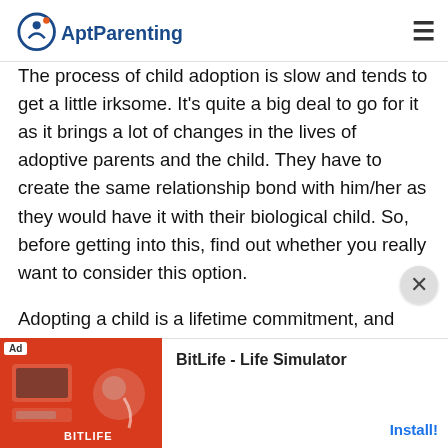AptParenting
The process of child adoption is slow and tends to get a little irksome. It's quite a big deal to go for it as it brings a lot of changes in the lives of adoptive parents and the child. They have to create the same relationship bond with him/her as they would have it with their biological child. So, before getting into this, find out whether you really want to consider this option.
Adopting a child is a lifetime commitment, and therefore, this decision should be taken carefully. Many interested parents abandon the process involved because of its complexities. Remember that it is time-consuming and takes up all your energy…
[Figure (screenshot): Advertisement banner at the bottom of the page. Shows a BitLife - Life Simulator app ad with a red graphic on the left and 'Install!' button on the right.]